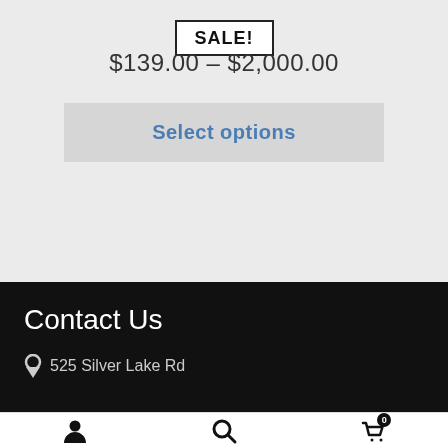SALE!
$139.00 – $2,000.00
Select options
Contact Us
525 Silver Lake Rd
User icon | Search icon | Cart with 0 items